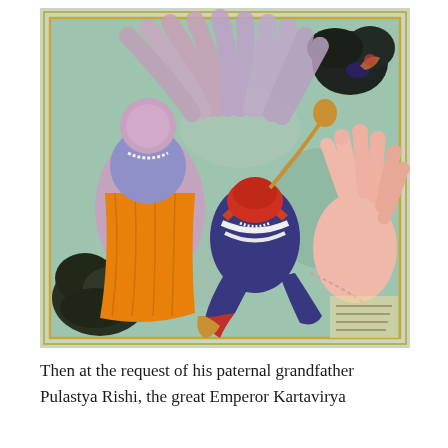[Figure (illustration): A Mughal-style manuscript painting depicting a multi-armed deity (blue/purple figure wearing orange garments) with many hands spread wide, and a warrior figure in blue and red clothing with a turban, crouching or wrestling on the ground. The background is a teal/green textured surface. There are dark foliage elements in the corners and a large pink multi-fingered hand on the right side. The painting has a gilded border and appears to be from a Persian or Mughal illustrated manuscript.]
Then at the request of his paternal grandfather Pulastya Rishi, the great Emperor Kartavirya